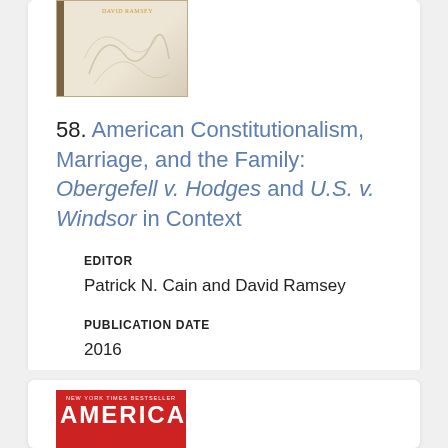[Figure (photo): Book cover thumbnail - decorative design with swirls on cream/tan background with dark spine]
58. American Constitutionalism, Marriage, and the Family: Obergefell v. Hodges and U.S. v. Windsor in Context
EDITOR
Patrick N. Cain and David Ramsey
PUBLICATION DATE
2016
[Figure (photo): Book cover - New York Times Bestseller label at top, red background with white text reading AMERICAN]